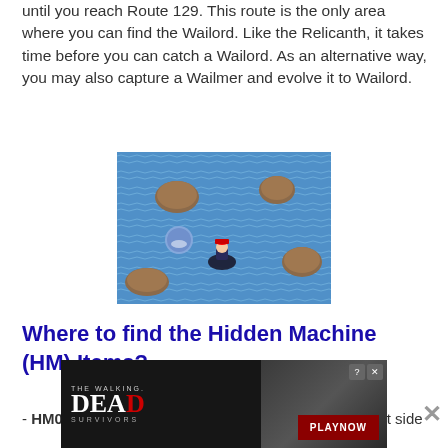until you reach Route 129. This route is the only area where you can find the Wailord. Like the Relicanth, it takes time before you can catch a Wailord. As an alternative way, you may also capture a Wailmer and evolve it to Wailord.
[Figure (screenshot): Pokemon game screenshot showing a water route with rock obstacles and a player character surfing on a dark-colored Pokemon over blue water tiles.]
Where to find the Hidden Machine (HM) Items?
HM01 Cut – Find the cutter's house located on the left side
[Figure (screenshot): The Walking Dead Survivors advertisement banner with person and PLAY NOW button.]